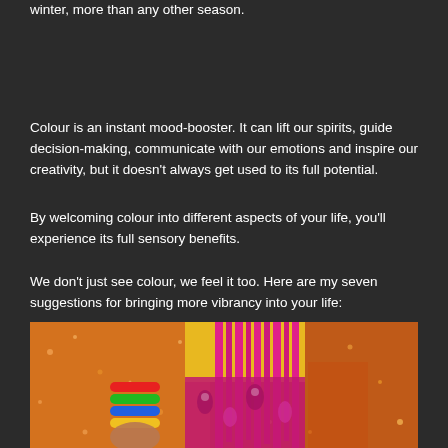winter, more than any other season.
Colour is an instant mood-booster. It can lift our spirits, guide decision-making, communicate with our emotions and inspire our creativity, but it doesn't always get used to its full potential.
By welcoming colour into different aspects of your life, you'll experience its full sensory benefits.
We don't just see colour, we feel it too. Here are my seven suggestions for bringing more vibrancy into your life:
[Figure (photo): Colorful photo of a person wearing vibrant pink, yellow and multicolored clothing and bracelets, set against a warm orange/gold sparkly background.]